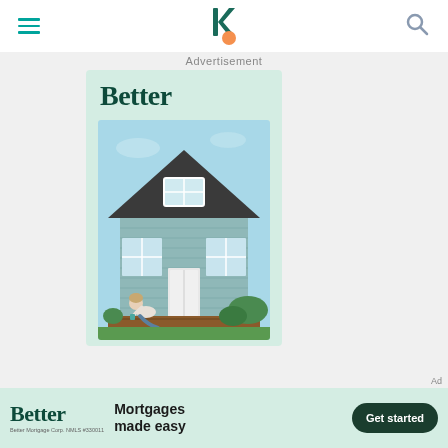Navigation bar with hamburger menu, Better.com logo, and search icon
Advertisement
[Figure (illustration): Better mortgage advertisement banner featuring the 'Better' brand logo in dark green on a light green background, with a photo of a person sitting on the steps of a quaint house with large windows and a triangular roof against a blue sky.]
[Figure (photo): Bottom banner advertisement: Better logo on left, 'Mortgages made easy' tagline in center, 'Get started' button on right, with Better Mortgage Corp NMLS #330011 disclaimer.]